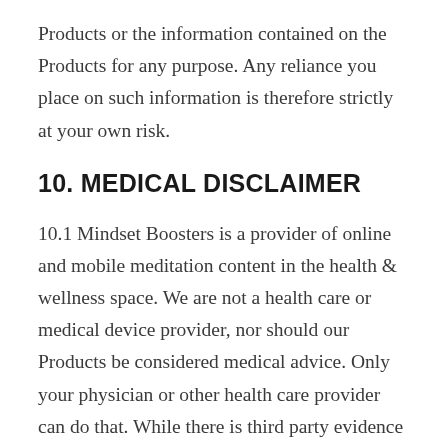Products or the information contained on the Products for any purpose. Any reliance you place on such information is therefore strictly at your own risk.
10. MEDICAL DISCLAIMER
10.1 Mindset Boosters is a provider of online and mobile meditation content in the health & wellness space. We are not a health care or medical device provider, nor should our Products be considered medical advice. Only your physician or other health care provider can do that. While there is third party evidence from research that meditation can assist in the